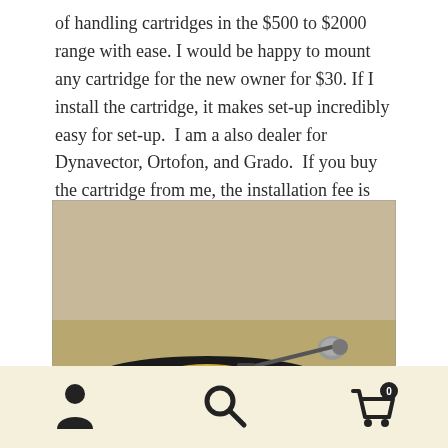of handling cartridges in the $500 to $2000 range with ease. I would be happy to mount any cartridge for the new owner for $30. If I install the cartridge, it makes set-up incredibly easy for set-up. I am a also dealer for Dynavector, Ortofon, and Grado. If you buy the cartridge from me, the installation fee is waived.
[Figure (photo): A vintage turntable with a wooden base, dark platter with metallic ring, and a tonearm with cartridge mounted on a light-colored plinth.]
[Figure (infographic): Navigation footer bar with three icons: a user/person icon, a search/magnifying glass icon, and a shopping cart icon with badge showing 0.]